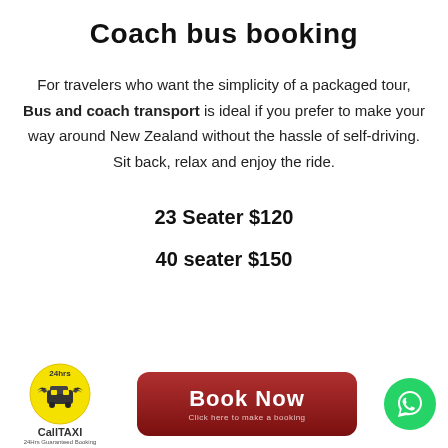Coach bus booking
For travelers who want the simplicity of a packaged tour, Bus and coach transport is ideal if you prefer to make your way around New Zealand without the hassle of self-driving. Sit back, relax and enjoy the ride.
23 Seater $120
40 seater $150
[Figure (logo): CallTAXI 24hrs logo with yellow circular emblem and text]
[Figure (other): Book Now button with red gradient background and subtitle 'Click here to make a booking']
[Figure (other): WhatsApp green circle button with phone icon]